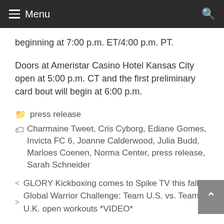Menu
beginning at 7:00 p.m. ET/4:00 p.m. PT.
Doors at Ameristar Casino Hotel Kansas City open at 5:00 p.m. CT and the first preliminary card bout will begin at 6:00 p.m.
press release
Charmaine Tweet, Cris Cyborg, Ediane Gomes, Invicta FC 6, Joanne Calderwood, Julia Budd, Marloes Coenen, Norma Center, press release, Sarah Schneider
< GLORY Kickboxing comes to Spike TV this fall
> Global Warrior Challenge: Team U.S. vs. Team U.K. open workouts *VIDEO*